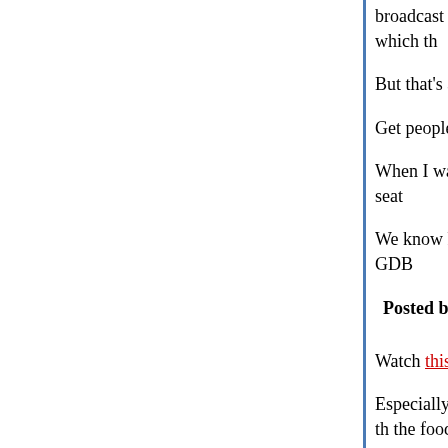broadcast media and print, and I'll recommend that refer patients for treatment to facilities in which th
But that's all probably way too lefty for y'all, and p much money.
Get people to eat vegetables and take a walk.
When I was a kid, everybody smoked, and nobod many people smoke, and most people wear seat
We know how to get people to change their habits Compared to letting health care go to 20% of GDB
Posted by: russell | March 01, 2010 at 12:32 PM
Watch this.
Especially, watch through to the part about the fa probably going to die before they're 25 because th the food they eat.
Also watch the part where he brings some vegeta and asks them what they are. The kids could not eggplant, and a tomato.